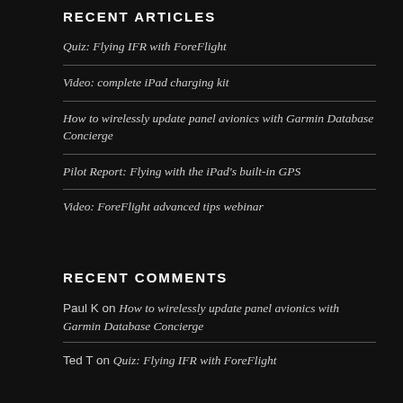RECENT ARTICLES
Quiz: Flying IFR with ForeFlight
Video: complete iPad charging kit
How to wirelessly update panel avionics with Garmin Database Concierge
Pilot Report: Flying with the iPad's built-in GPS
Video: ForeFlight advanced tips webinar
RECENT COMMENTS
Paul K on How to wirelessly update panel avionics with Garmin Database Concierge
Ted T on Quiz: Flying IFR with ForeFlight